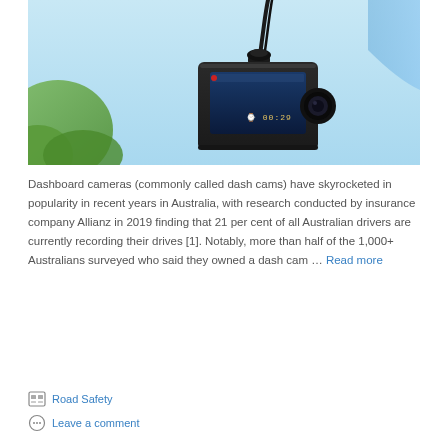[Figure (photo): Close-up photo of a dashboard camera (dash cam) mounted on a surface, showing a black device with a small screen displaying 00:29, against a light blue sky background with green foliage visible on the left.]
Dashboard cameras (commonly called dash cams) have skyrocketed in popularity in recent years in Australia, with research conducted by insurance company Allianz in 2019 finding that 21 per cent of all Australian drivers are currently recording their drives [1]. Notably, more than half of the 1,000+ Australians surveyed who said they owned a dash cam … Read more
Road Safety
Leave a comment